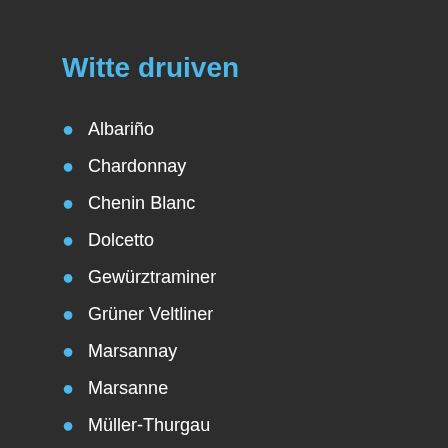Witte druiven
Albariño
Chardonnay
Chenin Blanc
Dolcetto
Gewürztraminer
Grüner Veltliner
Marsannay
Marsanne
Müller-Thurgau
Muscat of Moscato
Pedro Ximénez
Picpoul